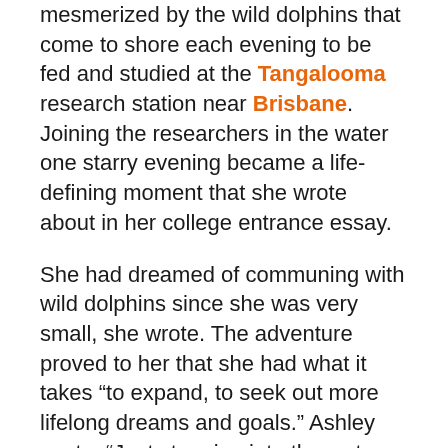mesmerized by the wild dolphins that come to shore each evening to be fed and studied at the Tangalooma research station near Brisbane. Joining the researchers in the water one starry evening became a life-defining moment that she wrote about in her college entrance essay.
She had dreamed of communing with wild dolphins since she was very small, she wrote. The adventure proved to her that she had what it takes “to expand, to seek out more lifelong dreams and goals.” Ashley wrote, “Just stepping into the water, waiting to feed the wild dolphins, showed me that I am yet unfinished on my journey to find who I am.”
And one evening she put aside her then near-vegetarian eating habits to sample John’s grilled kangaroo steak. “Poor thing,” she said of the